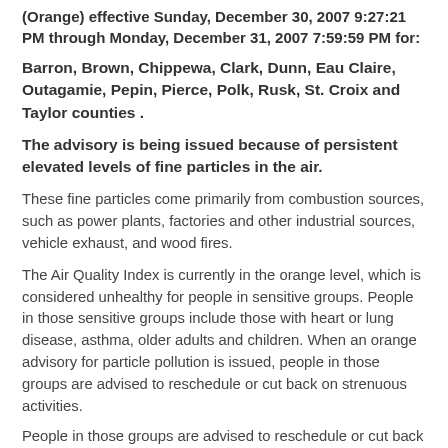(Orange) effective Sunday, December 30, 2007 9:27:21 PM through Monday, December 31, 2007 7:59:59 PM for:
Barron, Brown, Chippewa, Clark, Dunn, Eau Claire, Outagamie, Pepin, Pierce, Polk, Rusk, St. Croix and Taylor counties .
The advisory is being issued because of persistent elevated levels of fine particles in the air.
These fine particles come primarily from combustion sources, such as power plants, factories and other industrial sources, vehicle exhaust, and wood fires.
The Air Quality Index is currently in the orange level, which is considered unhealthy for people in sensitive groups. People in those sensitive groups include those with heart or lung disease, asthma, older adults and children. When an orange advisory for particle pollution is issued, people in those groups are advised to reschedule or cut back on strenuous activities.
People in those groups are advised to reschedule or cut back on strenuous activities.